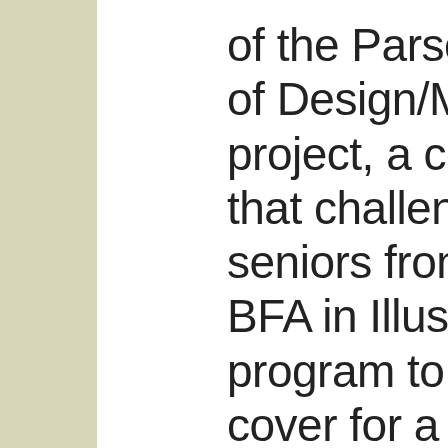of the Parsons School of Design/Moleskine project, a competition that challenged 51 seniors from Parsons' BFA in Illustration program to design a cover for a Moleskine cahier journal and bellyband using the prompt #WanderingMind.